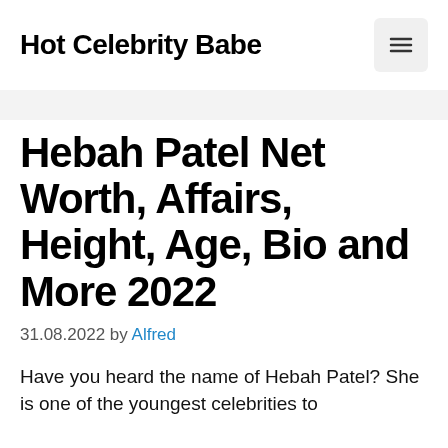Hot Celebrity Babe
Hebah Patel Net Worth, Affairs, Height, Age, Bio and More 2022
31.08.2022 by Alfred
Have you heard the name of Hebah Patel? She is one of the youngest celebrities to